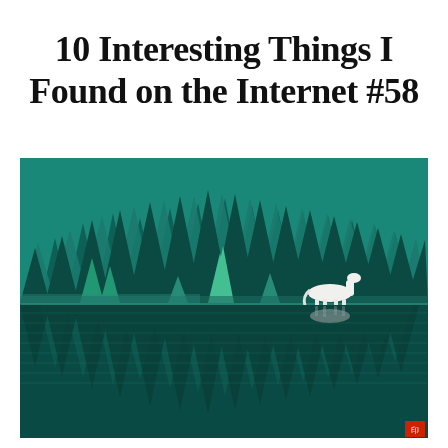10 Interesting Things I Found on the Internet #58
[Figure (illustration): Japanese-style painting of a dense forest of dark teal/green conifer trees reflected in a still lake below. A single white horse stands near the water's edge on the right side. A small red seal/signature mark appears in the bottom right corner.]